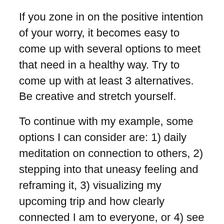If you zone in on the positive intention of your worry, it becomes easy to come up with several options to meet that need in a healthy way. Try to come up with at least 3 alternatives. Be creative and stretch yourself.
To continue with my example, some options I can consider are: 1) daily meditation on connection to others, 2) stepping into that uneasy feeling and reframing it, 3) visualizing my upcoming trip and how clearly connected I am to everyone, or 4) see my higher self and ask her for advice.
5. Visualize, Choose, and Act
Finally, visualize each alternative you've created. Check in with your heart. Pick the method that feels best to you. Then, make a beautiful mini-movie and see how smoothly you can move through the worry that's on your mind. Let the